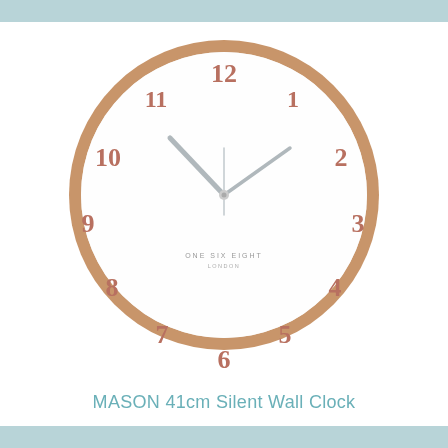[Figure (photo): MASON 41cm Silent Wall Clock with wooden frame, white face, and rose gold/copper numerals. Shows time approximately 10:10. Brand 'ONE SIX EIGHT LONDON' printed on the face.]
MASON 41cm Silent Wall Clock